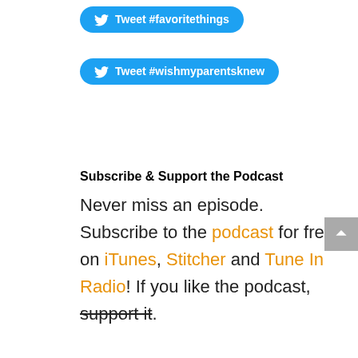[Figure (other): Twitter button with text 'Tweet #favoritethings']
[Figure (other): Twitter button with text 'Tweet #wishmyparentsknew']
Subscribe & Support the Podcast
Never miss an episode. Subscribe to the podcast for free on iTunes, Stitcher and Tune In Radio! If you like the podcast, support it.